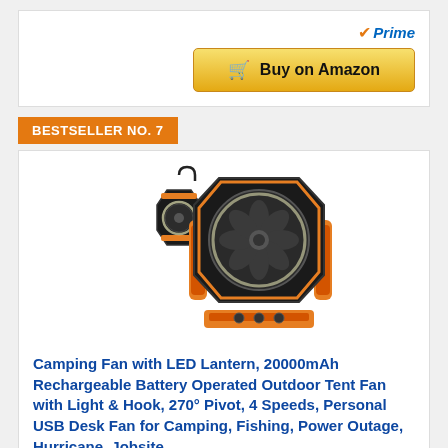[Figure (screenshot): Amazon Prime badge and Buy on Amazon button with cart icon]
BESTSELLER NO. 7
[Figure (photo): Camping fan with LED lantern product photo showing orange and black fan with hook attachment]
Camping Fan with LED Lantern, 20000mAh Rechargeable Battery Operated Outdoor Tent Fan with Light & Hook, 270° Pivot, 4 Speeds, Personal USB Desk Fan for Camping, Fishing, Power Outage, Hurricane, Jobsite